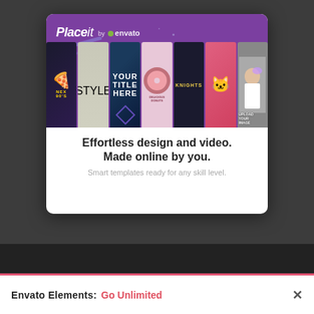[Figure (screenshot): Placeit by Envato promotional card showing a collage of design templates (pizza logo, hoodie mockup, face art with YOUR TITLE HERE text, Delicious Donuts logo, Knights logo, cat illustration, selfie mockup) on a purple background, with white card below containing headline text.]
Effortless design and video. Made online by you.
Smart templates ready for any skill level.
Envato Elements:  Go Unlimited  ×